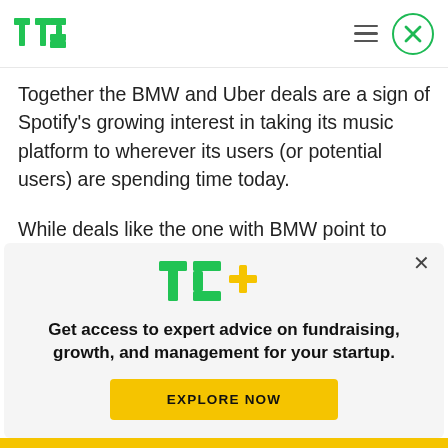TechCrunch
Together the BMW and Uber deals are a sign of Spotify’s growing interest in taking its music platform to wherever its users (or potential users) are spending time today.
While deals like the one with BMW point to Spotify’s strategy to target drivers, the Uber deal is
[Figure (logo): TC+ logo overlay with close button and promotional text: Get access to expert advice on fundraising, growth, and management for your startup. EXPLORE NOW button.]